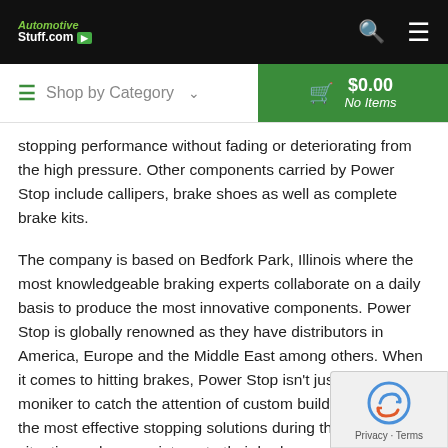AutomotiveStuff.com — Shop by Category | $0.00 No Items
stopping performance without fading or deteriorating from the high pressure. Other components carried by Power Stop include callipers, brake shoes as well as complete brake kits.
The company is based on Bedfork Park, Illinois where the most knowledgeable braking experts collaborate on a daily basis to produce the most innovative components. Power Stop is globally renowned as they have distributors in America, Europe and the Middle East among others. When it comes to hitting brakes, Power Stop isn't just a clever moniker to catch the attention of custom builders. Expect the most effective stopping solutions during the toughest situations when you integrate their brake components to your